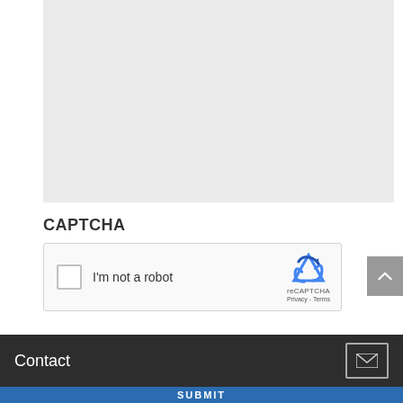[Figure (other): Gray placeholder rectangle, likely an image or form field area]
CAPTCHA
[Figure (other): reCAPTCHA widget with checkbox labeled 'I'm not a robot' and the reCAPTCHA logo with Privacy and Terms links]
Contact
SUBMIT